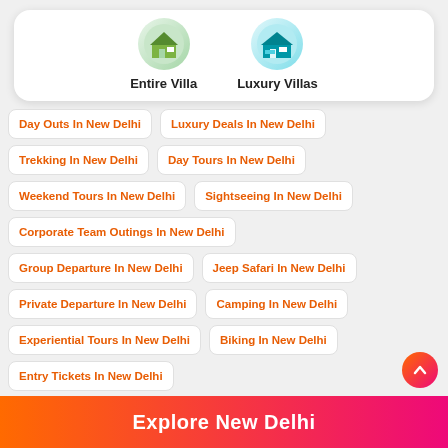[Figure (illustration): Two circular icons: 'Entire Villa' with a house/villa image, and 'Luxury Villas' with a villa image]
Day Outs In New Delhi
Luxury Deals In New Delhi
Trekking In New Delhi
Day Tours In New Delhi
Weekend Tours In New Delhi
Sightseeing In New Delhi
Corporate Team Outings In New Delhi
Group Departure In New Delhi
Jeep Safari In New Delhi
Private Departure In New Delhi
Camping In New Delhi
Experiential Tours In New Delhi
Biking In New Delhi
Entry Tickets In New Delhi
Explore New Delhi